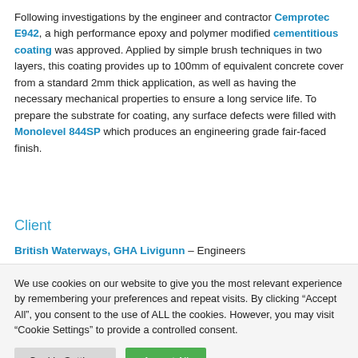Following investigations by the engineer and contractor Cemprotec E942, a high performance epoxy and polymer modified cementitious coating was approved. Applied by simple brush techniques in two layers, this coating provides up to 100mm of equivalent concrete cover from a standard 2mm thick application, as well as having the necessary mechanical properties to ensure a long service life. To prepare the substrate for coating, any surface defects were filled with Monolevel 844SP which produces an engineering grade fair-faced finish.
Client
British Waterways, GHA Livigunn – Engineers
We use cookies on our website to give you the most relevant experience by remembering your preferences and repeat visits. By clicking "Accept All", you consent to the use of ALL the cookies. However, you may visit "Cookie Settings" to provide a controlled consent.